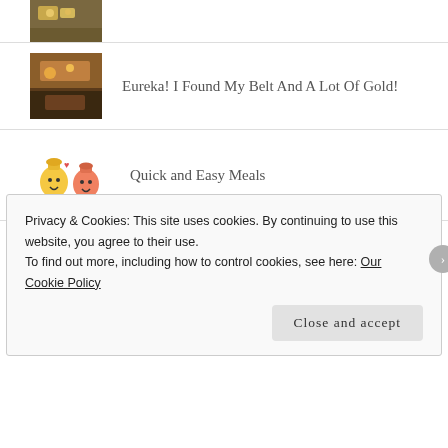[Figure (photo): Small thumbnail photo (partially visible at top), appears to show food/gold coins]
[Figure (photo): Small thumbnail photo of a restaurant or food scene with warm lighting]
Eureka! I Found My Belt And A Lot Of Gold!
[Figure (illustration): Small cartoon illustration of two jar characters]
Quick and Easy Meals
Affiliate Disclosure:
We participate in affiliate  programs designed to provide a means for us to earn fees by linking to affiliated sites. Click HERE for the full disclaimer.
Privacy & Cookies: This site uses cookies. By continuing to use this website, you agree to their use.
To find out more, including how to control cookies, see here: Our Cookie Policy
Close and accept